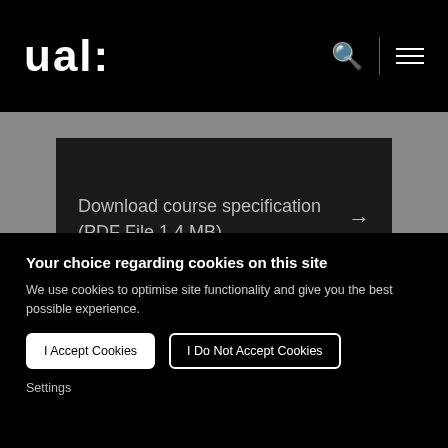ual:
Download course specification (PDF File 1.4 MB)
Information for offer holders
Your choice regarding cookies on this site
We use cookies to optimise site functionality and give you the best possible experience.
I Accept Cookies
I Do Not Accept Cookies
Settings